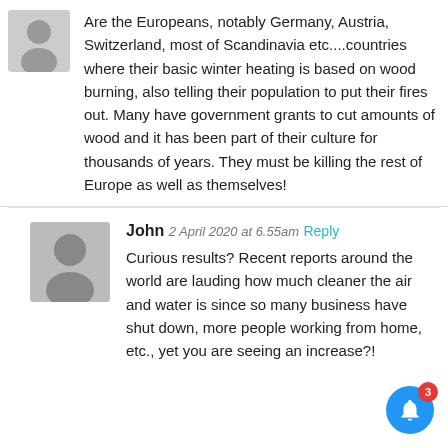Are the Europeans, notably Germany, Austria, Switzerland, most of Scandinavia etc....countries where their basic winter heating is based on wood burning, also telling their population to put their fires out. Many have government grants to cut amounts of wood and it has been part of their culture for thousands of years. They must be killing the rest of Europe as well as themselves!
John 2 April 2020 at 6.55am Reply
Curious results? Recent reports around the world are lauding how much cleaner the air and water is since so many business have shut down, more people working from home, etc., yet you are seeing an increase?!